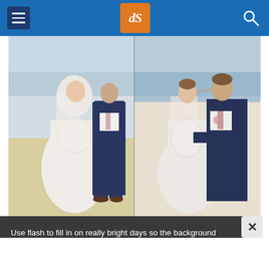dPS photography website header with menu and search
[Figure (photo): Two side-by-side wedding photos on a beach. Left photo shows a bride in a white lace mermaid gown and groom in a navy suit standing close together, facing each other on sandy beach. Right photo shows the couple in a closer romantic embrace, faces nearly touching, ocean visible in background.]
Use flash to fill in on really bright days so the background doesn't wash out.